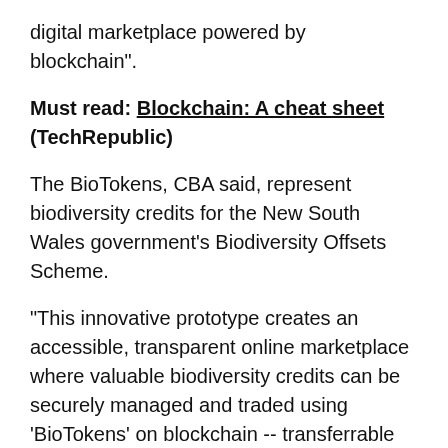digital marketplace powered by blockchain".
Must read: Blockchain: A cheat sheet (TechRepublic)
The BioTokens, CBA said, represent biodiversity credits for the New South Wales government's Biodiversity Offsets Scheme.
"This innovative prototype creates an accessible, transparent online marketplace where valuable biodiversity credits can be securely managed and traded using 'BioTokens' on blockchain -- transferrable digital tokens which represent unique biodiversity assets." CBA head of experimentation and commercialisation for blockchain, artificial intelligence, and emerging technology Sophie